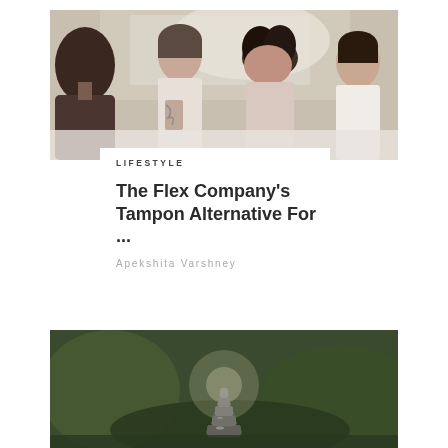[Figure (photo): Four women sitting together, one with tattoos, in a bright room with natural light and greenery in background]
LIFESTYLE
The Flex Company's Tampon Alternative For ...
Apekshita Varshney
[Figure (photo): Stacked stones balancing outdoors with blurred green foliage background]